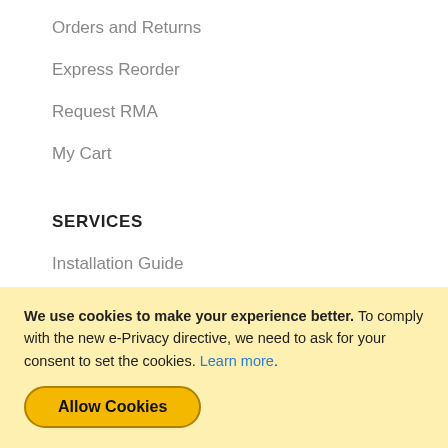Orders and Returns
Express Reorder
Request RMA
My Cart
SERVICES
Installation Guide
Trouble Shooting Guide
Knowledge Base
Blog
Testimonials
We use cookies to make your experience better. To comply with the new e-Privacy directive, we need to ask for your consent to set the cookies. Learn more.
Allow Cookies